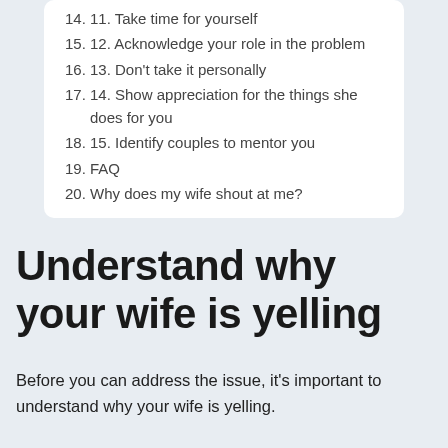14. 11. Take time for yourself
15. 12. Acknowledge your role in the problem
16. 13. Don't take it personally
17. 14. Show appreciation for the things she does for you
18. 15. Identify couples to mentor you
19. FAQ
20. Why does my wife shout at me?
Understand why your wife is yelling
Before you can address the issue, it's important to understand why your wife is yelling.